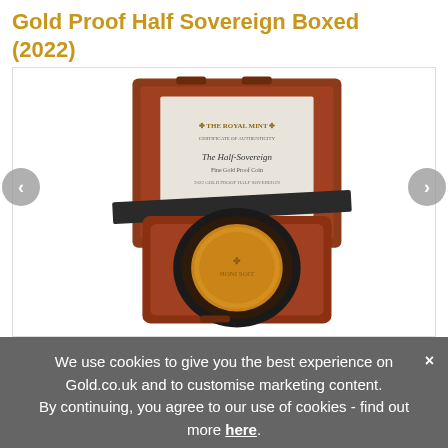Gold Proof Half Sovereign Boxed (2022)
[Figure (photo): Royal Mint Gold Proof Half Sovereign coin displayed in an open wooden presentation box with black ribbon and certificate insert, with left and right navigation arrows]
We use cookies to give you the best experience on Gold.co.uk and to customise marketing content. By continuing, you agree to our use of cookies - find out more here.
[Figure (photo): Thumbnail images of the coin product at bottom of page]